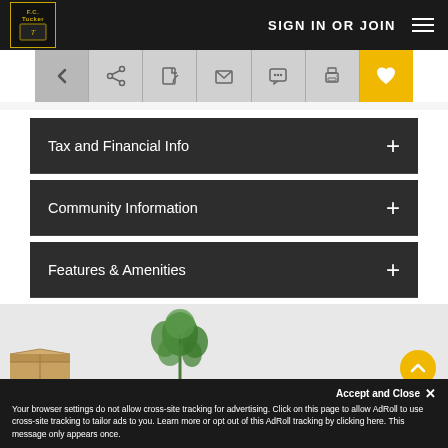F.C. Tucker — SIGN IN OR JOIN
[Figure (screenshot): Navigation toolbar with back arrow, share, edit, email, chat, print, and favorite heart icons]
Tax and Financial Info
Community Information
Features & Amenities
[Figure (photo): Interior photo showing a potted plant and cardboard box against a light wall]
Accept and Close ✕
Your browser settings do not allow cross-site tracking for advertising. Click on this page to allow AdRoll to use cross-site tracking to tailor ads to you. Learn more or opt out of this AdRoll tracking by clicking here. This message only appears once.